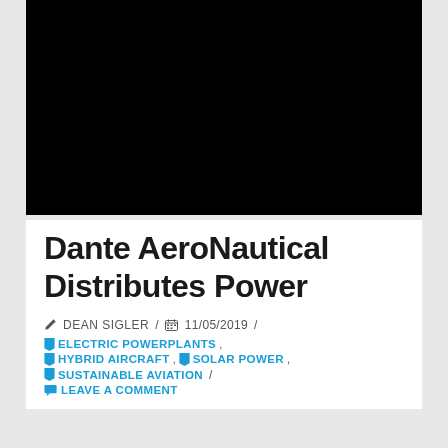[Figure (photo): Black image/video thumbnail at the top of the article page]
Dante AeroNautical Distributes Power
✏ DEAN SIGLER / 📅 11/05/2019 /
🔖 ELECTRIC POWERPLANTS, 🔖 HYBRID AIRCRAFT, 🔖 SOLAR POWER, 🔖 SUSTAINABLE AVIATION / 💬 LEAVE A COMMENT